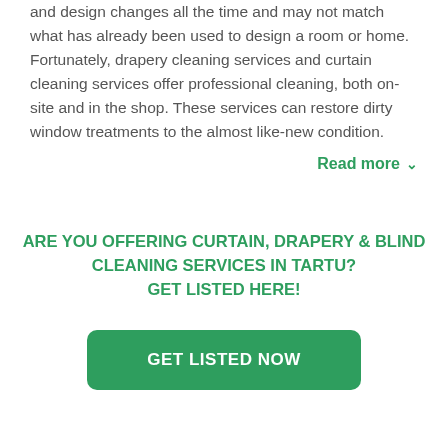and design changes all the time and may not match what has already been used to design a room or home. Fortunately, drapery cleaning services and curtain cleaning services offer professional cleaning, both on-site and in the shop. These services can restore dirty window treatments to the almost like-new condition.
Read more ∨
ARE YOU OFFERING CURTAIN, DRAPERY & BLIND CLEANING SERVICES IN TARTU? GET LISTED HERE!
GET LISTED NOW